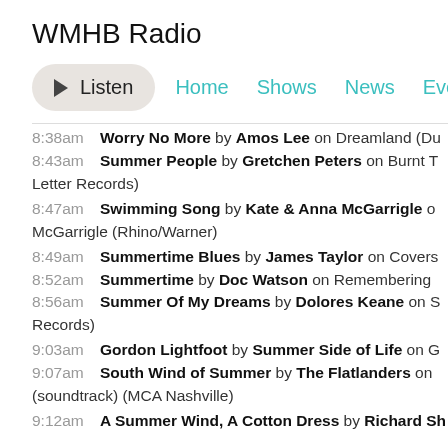WMHB Radio
► Listen | Home | Shows | News | Events
8:38am Worry No More by Amos Lee on Dreamland (Du…
8:43am Summer People by Gretchen Peters on Burnt To… Letter Records)
8:47am Swimming Song by Kate & Anna McGarrigle on… McGarrigle (Rhino/Warner)
8:49am Summertime Blues by James Taylor on Covers…
8:52am Summertime by Doc Watson on Remembering…
8:56am Summer Of My Dreams by Dolores Keane on S… Records)
9:03am Gordon Lightfoot by Summer Side of Life on G…
9:07am South Wind of Summer by The Flatlanders on… (soundtrack) (MCA Nashville)
9:12am A Summer Wind, A Cotton Dress by Richard Sh…